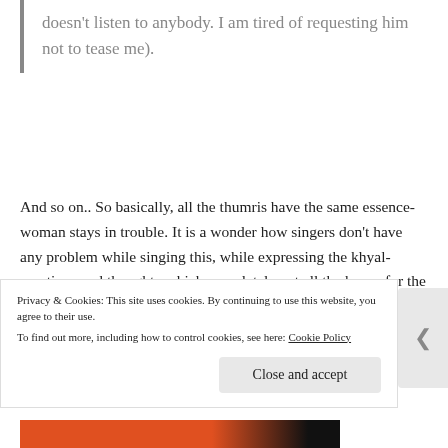doesn't listen to anybody. I am tired of requesting him not to tease me).
And so on.. So basically, all the thumris have the same essence-woman stays in trouble. It is a wonder how singers don't have any problem while singing this, while expressing the khyal-emotions and thoughts-which completely cut all the hopes for the upliftment of women. Yet we blame Bollywood for writing offensive lyrics, while even the
Privacy & Cookies: This site uses cookies. By continuing to use this website, you agree to their use.
To find out more, including how to control cookies, see here: Cookie Policy